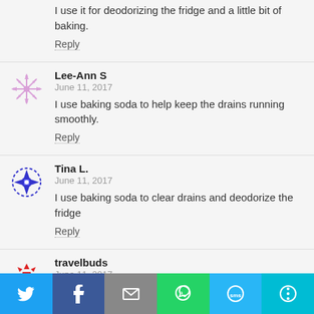I use it for deodorizing the fridge and a little bit of baking.
Reply
Lee-Ann S
June 11, 2017
I use baking soda to help keep the drains running smoothly.
Reply
Tina L.
June 11, 2017
I use baking soda to clear drains and deodorize the fridge
Reply
travelbuds
June 11, 2017
[Figure (infographic): Social share bar with Twitter, Facebook, Email, WhatsApp, SMS, and More buttons]